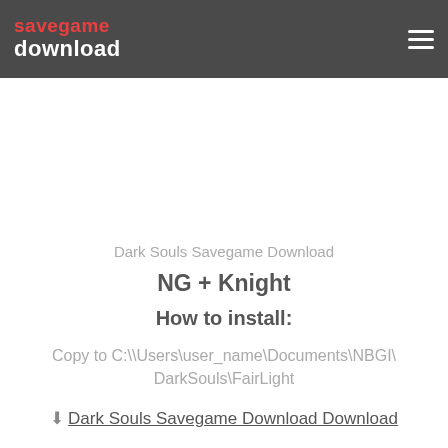savegame download
Dark Souls Savegame Download
NG + Knight
How to install:
Copy to C:\\Users\user_name\Documents\NBGI\DarkSouls\FairLight
Dark Souls Savegame Download Download